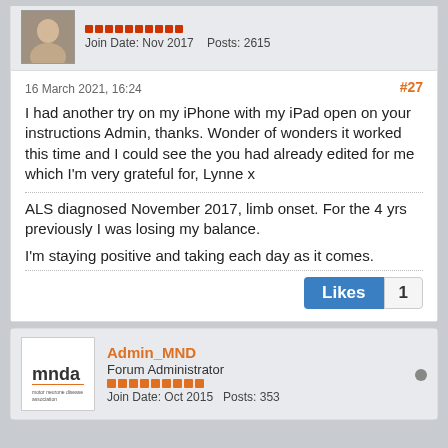Join Date: Nov 2017    Posts: 2615
16 March 2021, 16:24
#27
I had another try on my iPhone with my iPad open on your instructions Admin, thanks. Wonder of wonders it worked this time and I could see the you had already edited for me which I'm very grateful for, Lynne x
ALS diagnosed November 2017, limb onset. For the 4 yrs previously I was losing my balance.
I'm staying positive and taking each day as it comes.
Likes  1
Admin_MND
Forum Administrator
Join Date: Oct 2015    Posts: 353